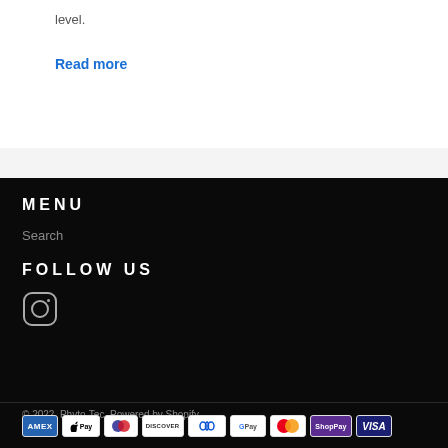level.
Read more
MENU
Search
FOLLOW US
[Figure (logo): Instagram icon (rounded square with circle and dot)]
© 2022, Phyto-Tec. Powered by Shopify
[Figure (infographic): Payment method badges: American Express, Apple Pay, Diners Club, Discover, Meta Pay, Google Pay, Mastercard, Shop Pay, Visa]